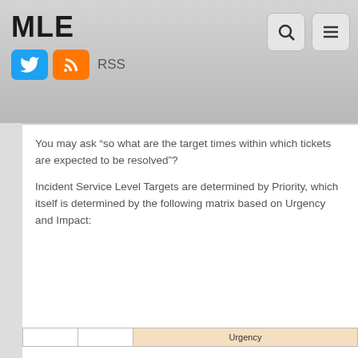MLE
You may ask “so what are the target times within which tickets are expected to be resolved”?
Incident Service Level Targets are determined by Priority, which itself is determined by the following matrix based on Urgency and Impact:
|  |  | Urgency |  |
| --- | --- | --- | --- |